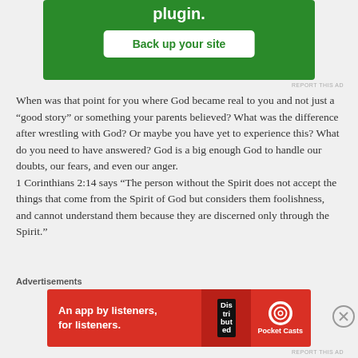[Figure (screenshot): Green advertisement banner with 'plugin.' text and 'Back up your site' button]
REPORT THIS AD
When was that point for you where God became real to you and not just a “good story” or something your parents believed? What was the difference after wrestling with God? Or maybe you have yet to experience this? What do you need to have answered? God is a big enough God to handle our doubts, our fears, and even our anger.
1 Corinthians 2:14 says “The person without the Spirit does not accept the things that come from the Spirit of God but considers them foolishness, and cannot understand them because they are discerned only through the Spirit.”
Advertisements
[Figure (screenshot): Red Pocket Casts advertisement: 'An app by listeners, for listeners.' with phone image and Pocket Casts logo]
REPORT THIS AD